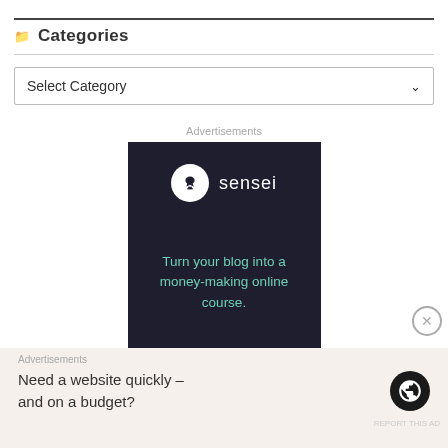Categories
Select Category
Advertisements
[Figure (other): Sensei advertisement banner: dark navy background with Sensei logo (white circle with tree icon) and text 'Turn your blog into a money-making online course.' in teal color]
Advertisements
Need a website quickly – and on a budget?